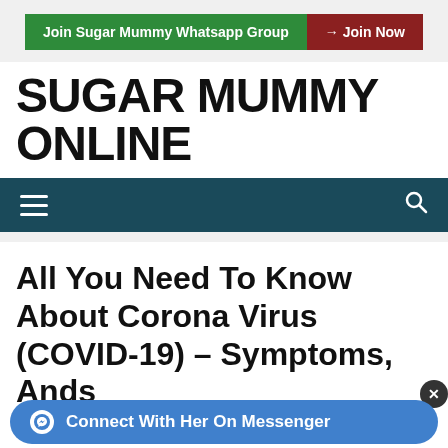[Figure (infographic): Advertisement banner: green button 'Join Sugar Mummy Whatsapp Group' and red button '→ Join Now']
SUGAR MUMMY ONLINE
Navigation bar with hamburger menu and search icon
All You Need To Know About Corona Virus (COVID-19) – Symptoms, And... s
Connect With Her On Messenger